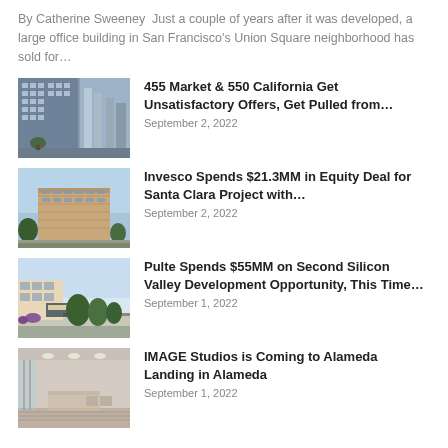By Catherine Sweeney  Just a couple of years after it was developed, a large office building in San Francisco's Union Square neighborhood has sold for...
[Figure (photo): Exterior photo of a high-rise office building at 455 Market & 550 California, San Francisco]
455 Market & 550 California Get Unsatisfactory Offers, Get Pulled from...
September 2, 2022
[Figure (photo): Exterior rendering of a mid-rise residential building for Invesco Santa Clara project]
Invesco Spends $21.3MM in Equity Deal for Santa Clara Project with...
September 2, 2022
[Figure (photo): Street-level photo of a Silicon Valley development site for Pulte project]
Pulte Spends $55MM on Second Silicon Valley Development Opportunity, This Time...
September 1, 2022
[Figure (photo): Interior photo of IMAGE Studios lobby at Alameda Landing in Alameda]
IMAGE Studios is Coming to Alameda Landing in Alameda
September 1, 2022